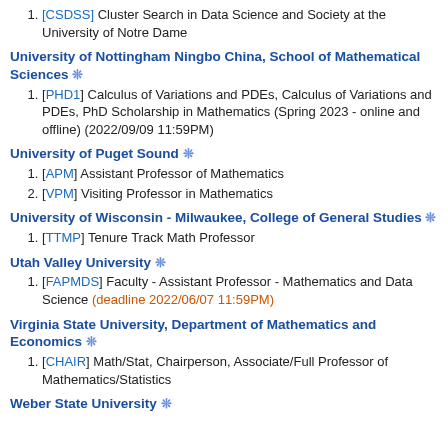[CSDSS] Cluster Search in Data Science and Society at the University of Notre Dame
University of Nottingham Ningbo China, School of Mathematical Sciences ❊
[PHD1] Calculus of Variations and PDEs, Calculus of Variations and PDEs, PhD Scholarship in Mathematics (Spring 2023 - online and offline) (2022/09/09 11:59PM)
University of Puget Sound ❊
[APM] Assistant Professor of Mathematics
[VPM] Visiting Professor in Mathematics
University of Wisconsin - Milwaukee, College of General Studies ❊
[TTMP] Tenure Track Math Professor
Utah Valley University ❊
[FAPMDS] Faculty - Assistant Professor - Mathematics and Data Science (deadline 2022/06/07 11:59PM)
Virginia State University, Department of Mathematics and Economics ❊
[CHAIR] Math/Stat, Chairperson, Associate/Full Professor of Mathematics/Statistics
Weber State University ❊